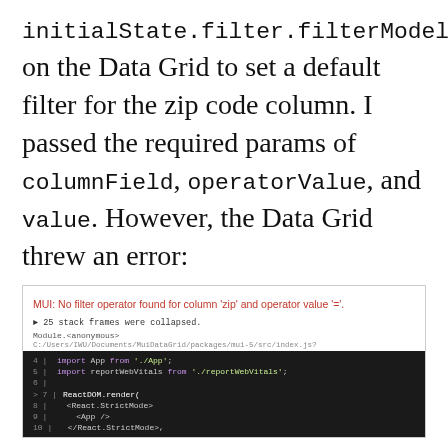initialState.filter.filterModel on the Data Grid to set a default filter for the zip code column. I passed the required params of columnField, operatorValue, and value. However, the Data Grid threw an error:
[Figure (screenshot): Error message screenshot showing: 'MUI: No filter operator found for column zip and operator value =.' followed by collapsed stack frames, module path info, and a code snippet with React import lines in a dark code view. An overlay says 'No compatible source was found for this media.' An ad banner for Amazon forest protection is also visible.]